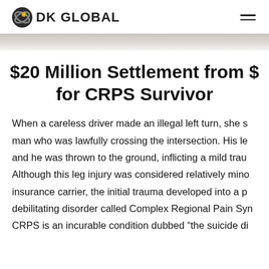DK GLOBAL
$20 Million Settlement from $ for CRPS Survivor
When a careless driver made an illegal left turn, she s man who was lawfully crossing the intersection. His le and he was thrown to the ground, inflicting a mild trau Although this leg injury was considered relatively mino insurance carrier, the initial trauma developed into a p debilitating disorder called Complex Regional Pain Syn CRPS is an incurable condition dubbed “the suicide di